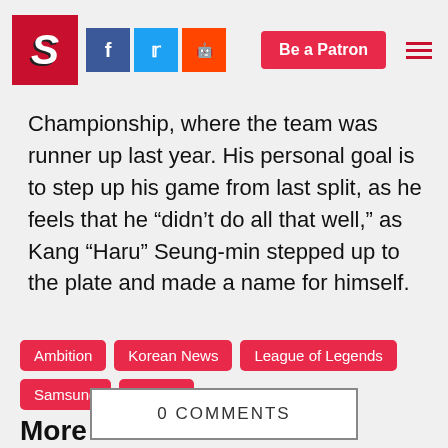Ambition | Samsung Galaxy's goal for the Summer is to make it back to the League of Legends World Championship
Championship, where the team was runner up last year. His personal goal is to step up his game from last split, as he feels that he “didn’t do all that well,” as Kang “Haru” Seung-min stepped up to the plate and made a name for himself.
Ambition
Korean News
League of Legends
Samsung Galaxy
More
0 COMMENTS